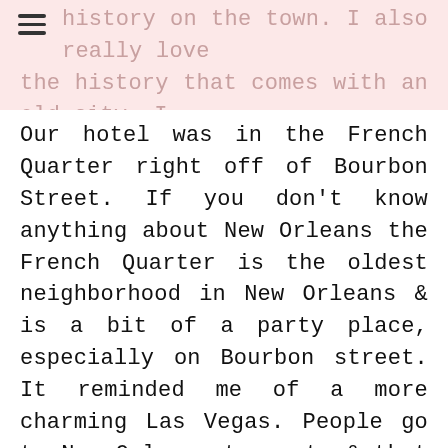history on the town. I also really love the history that comes with an old city. I think it is so interesting to learn about.
Our hotel was in the French Quarter right off of Bourbon Street. If you don't know anything about New Orleans the French Quarter is the oldest neighborhood in New Orleans & is a bit of a party place, especially on Bourbon street. It reminded me of a more charming Las Vegas. People go to New Orleans to party & that is exactly what they do. During our four day visit we saw a parade happen every single day, there were beads being thrown everywhere, live music on just about every corner & a lot of people having the time of their life. New Orleans is a very pretty city, but be warned if you are going to the French Quarter that it is extremely dirty